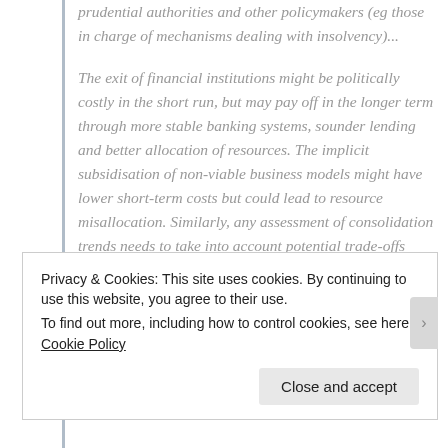prudential authorities and other policymakers (eg those in charge of mechanisms dealing with insolvency)...
The exit of financial institutions might be politically costly in the short run, but may pay off in the longer term through more stable banking systems, sounder lending and better allocation of resources. The implicit subsidisation of non-viable business models might have lower short-term costs but could lead to resource misallocation. Similarly, any assessment of consolidation trends needs to take into account potential trade-offs between efficiency and stability, as
Privacy & Cookies: This site uses cookies. By continuing to use this website, you agree to their use.
To find out more, including how to control cookies, see here: Cookie Policy